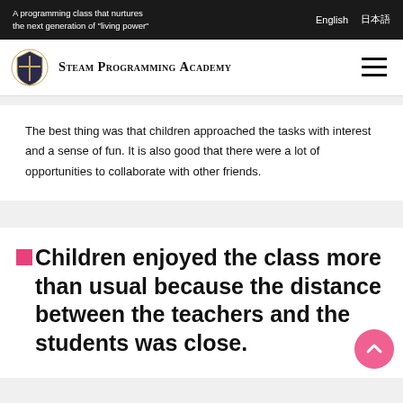A programming class that nurtures the next generation of "living power"
English  日本語
[Figure (logo): Steam Programming Academy crest logo with text 'Steam Programming Academy']
The best thing was that children approached the tasks with interest and a sense of fun. It is also good that there were a lot of opportunities to collaborate with other friends.
■Children enjoyed the class more than usual because the distance between the teachers and the students was close.